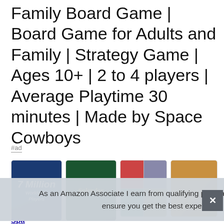Family Board Game | Board Game for Adults and Family | Strategy Game | Ages 10+ | 2 to 4 players | Average Playtime 30 minutes | Made by Space Cowboys
#ad
[Figure (screenshot): Row of four product image cards: (1) dark blue background with '7 Million Worldwide Players', (2) Splendor game cover on dark green, (3) mosaic of game-related photos, (4) board game components on orange/tan surface]
As an Amazon Associate I earn from qualifying purchases. This website uses the only necessary cookies to ensure you get the best experience on our website. More information
Spa
playtime; this family and adult card game can be played with 2